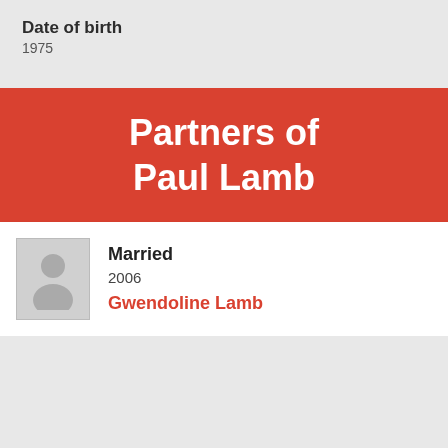Date of birth
1975
Partners of Paul Lamb
Married
2006
Gwendoline Lamb